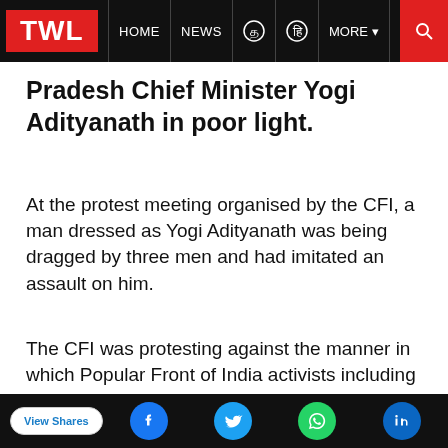TWL | HOME | NEWS | MORE
Pradesh Chief Minister Yogi Adityanath in poor light.
At the protest meeting organised by the CFI, a man dressed as Yogi Adityanath was being dragged by three men and had imitated an assault on him.
The CFI was protesting against the manner in which Popular Front of India activists including journalist Siddique Kappan, were put in jail after they were arrested by UP